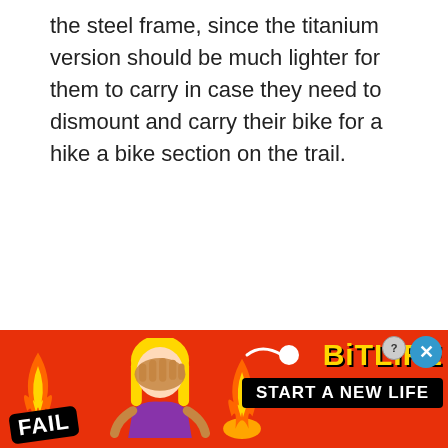the steel frame, since the titanium version should be much lighter for them to carry in case they need to dismount and carry their bike for a hike a bike section on the trail.
[Figure (infographic): Advertisement banner for BitLife mobile game. Orange/red background with flame graphics, a facepalm cartoon character, 'FAIL' badge in black, sperm icon, 'BITLIFE' logo in yellow, and 'START A NEW LIFE' text in white on black. Contains close/X buttons in top right corner.]